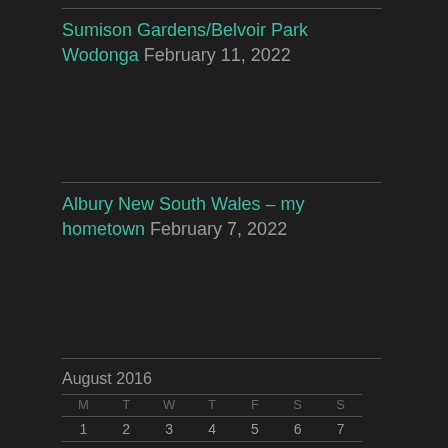Sumison Gardens/Belvoir Park Wodonga February 11, 2022
Albury New South Wales – my hometown February 7, 2022
August 2016
| M | T | W | T | F | S | S |
| --- | --- | --- | --- | --- | --- | --- |
| 1 | 2 | 3 | 4 | 5 | 6 | 7 |
| 8 | 9 | 10 | 11 | 12 | 13 | 14 |
| 15 | 16 | 17 | 18 | 19 | 20 | 21 |
| 22 | 23 | 24 | 25 | 26 | 27 | 28 |